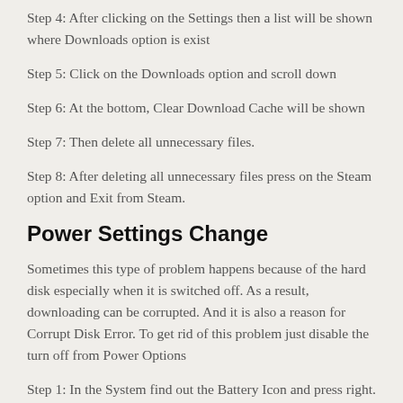Step 4: After clicking on the Settings then a list will be shown where Downloads option is exist
Step 5: Click on the Downloads option and scroll down
Step 6: At the bottom, Clear Download Cache will be shown
Step 7: Then delete all unnecessary files.
Step 8: After deleting all unnecessary files press on the Steam option and Exit from Steam.
Power Settings Change
Sometimes this type of problem happens because of the hard disk especially when it is switched off. As a result, downloading can be corrupted. And it is also a reason for Corrupt Disk Error. To get rid of this problem just disable the turn off from Power Options
Step 1: In the System find out the Battery Icon and press right.